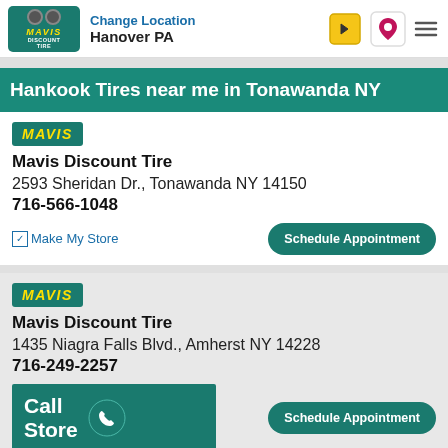Change Location Hanover PA
Hankook Tires near me in Tonawanda NY
[Figure (logo): Mavis Discount Tire logo badge (teal background, yellow italic MAVIS text)]
Mavis Discount Tire
2593 Sheridan Dr., Tonawanda NY 14150
716-566-1048
Make My Store
Schedule Appointment
[Figure (logo): Mavis Discount Tire logo badge (teal background, yellow italic MAVIS text)]
Mavis Discount Tire
1435 Niagra Falls Blvd., Amherst NY 14228
716-249-2257
Schedule Appointment
Call Store